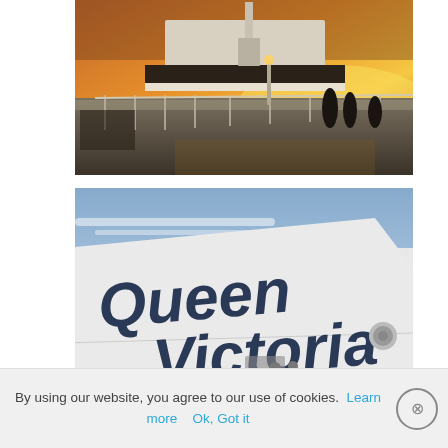[Figure (photo): Cruise ship deck at sunset with silhouettes of passengers walking along railing, golden orange sky in background]
[Figure (photo): Close-up photo of cruise ship hull showing name 'Queen Victoria' in large dark letters against white hull, blue sky with clouds in background]
By using our website, you agree to our use of cookies.  Learn more   Ok, Got it